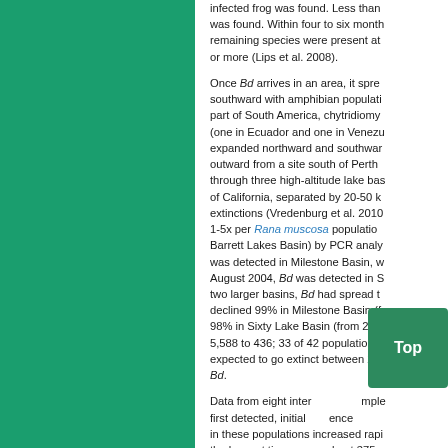[Figure (other): Green sidebar panel on the left side of the page]
infected frog was found. Less than was found. Within four to six months remaining species were present at or more (Lips et al. 2008).

Once Bd arrives in an area, it spreads southward with amphibian populations part of South America, chytridiomycosis (one in Ecuador and one in Venezuela) expanded northward and southward outward from a site south of Perth through three high-altitude lake basins of California, separated by 20-50 km extinctions (Vredenburg et al. 2010). 1-5x per Rana muscosa populations Barrett Lakes Basin) by PCR analysis. was detected in Milestone Basin, w August 2004, Bd was detected in S two larger basins, Bd had spread to declined 99% in Milestone Basin (f 98% in Sixty Lake Basin (from 2,19 5,588 to 436; 33 of 42 populations expected to go extinct between 201 Bd.

Data from eight inter mples first detected, initial A ence in these populations increased rapi the longest time, some about 375